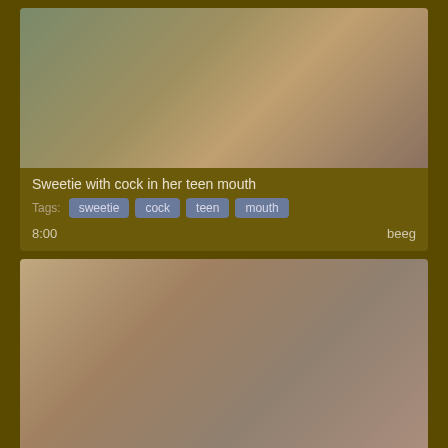[Figure (photo): Video thumbnail showing a young woman with dark hair and open mouth]
Sweetie with cock in her teen mouth
Tags: sweetie cock teen mouth
8:00
beeg
[Figure (photo): Video thumbnail showing a couple in an intimate scene]
Passionate hardcore with Presley
Tags: passionate hardcore presley